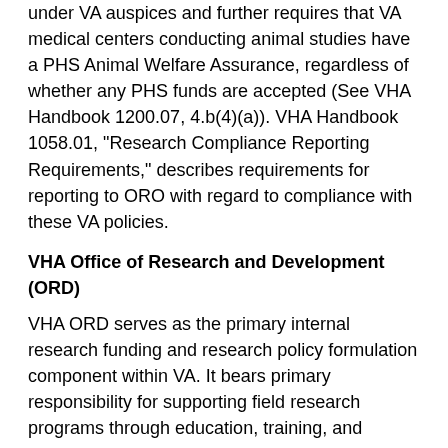under VA auspices and further requires that VA medical centers conducting animal studies have a PHS Animal Welfare Assurance, regardless of whether any PHS funds are accepted (See VHA Handbook 1200.07, 4.b(4)(a)). VHA Handbook 1058.01, "Research Compliance Reporting Requirements," describes requirements for reporting to ORO with regard to compliance with these VA policies.
VHA Office of Research and Development (ORD)
VHA ORD serves as the primary internal research funding and research policy formulation component within VA. It bears primary responsibility for supporting field research programs through education, training, and consultation. Support for VA field programs is managed primarily through the office of the Chief Veterinary Medical Officer (CVMO), which assumes responsibility for interactions with other federal agencies regarding policy and training matters. No VA funds are disbursed for research involving animals until the CVMO's office has performed a